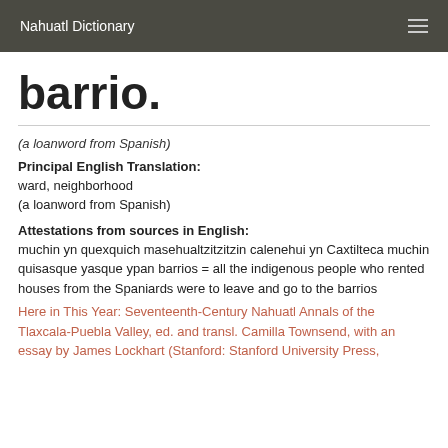Nahuatl Dictionary
barrio.
(a loanword from Spanish)
Principal English Translation:
ward, neighborhood
(a loanword from Spanish)
Attestations from sources in English:
muchin yn quexquich masehualtzitzitzin calenehui yn Caxtilteca muchin quisasque yasque ypan barrios = all the indigenous people who rented houses from the Spaniards were to leave and go to the barrios
Here in This Year: Seventeenth-Century Nahuatl Annals of the Tlaxcala-Puebla Valley, ed. and transl. Camilla Townsend, with an essay by James Lockhart (Stanford: Stanford University Press,